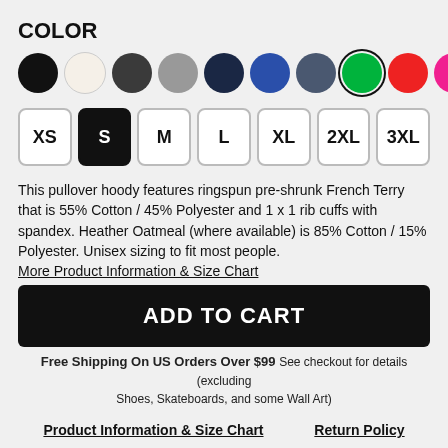COLOR
[Figure (infographic): Color swatches row: black, cream/white, dark charcoal, grey, dark navy, blue, dark grey-blue, green (selected with ring), red, hot pink, purple]
[Figure (infographic): Size selector buttons: XS, S (selected/black fill), M, L, XL, 2XL, 3XL]
This pullover hoody features ringspun pre-shrunk French Terry that is 55% Cotton / 45% Polyester and 1 x 1 rib cuffs with spandex. Heather Oatmeal (where available) is 85% Cotton / 15% Polyester. Unisex sizing to fit most people.
More Product Information & Size Chart
ADD TO CART
Free Shipping On US Orders Over $99 See checkout for details (excluding Shoes, Skateboards, and some Wall Art)
Product Information & Size Chart    Return Policy